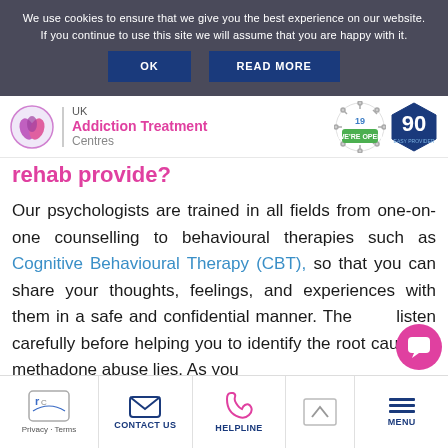We use cookies to ensure that we give you the best experience on our website. If you continue to use this site we will assume that you are happy with it.
OK | READ MORE
[Figure (logo): UK Addiction Treatment Centres logo with pink/purple circular icon, vertical divider, and text. Covid-19 WE'RE OPEN badge and 90 Easy Provider hexagon badge on right.]
rehab provide?
Our psychologists are trained in all fields from one-on-one counselling to behavioural therapies such as Cognitive Behavioural Therapy (CBT), so that you can share your thoughts, feelings, and experiences with them in a safe and confidential manner. They will listen carefully before helping you to identify the root cause of methadone abuse lies. As you
Privacy · Terms   CONTACT US   HELPLINE   MENU